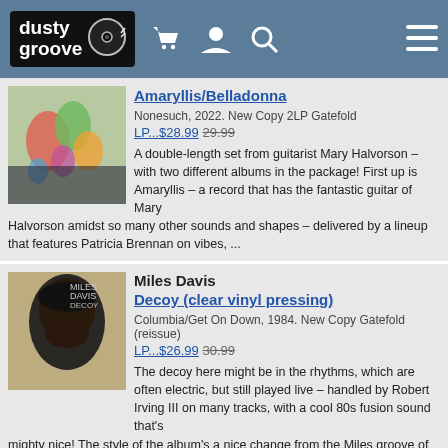dusty groove
Amaryllis/Belladonna
Nonesuch, 2022. New Copy 2LP Gatefold
LP...$28.99 29.99
A double-length set from guitarist Mary Halvorson – with two different albums in the package! First up is Amaryllis – a record that has the fantastic guitar of Mary Halvorson amidst so many other sounds and shapes – delivered by a lineup that features Patricia Brennan on vibes, ...
Miles Davis
Decoy (clear vinyl pressing)
Columbia/Get On Down, 1984. New Copy Gatefold (reissue)
LP...$26.99 30.99
The decoy here might be in the rhythms, which are often electric, but still played live – handled by Robert Irving III on many tracks, with a cool 80s fusion sound that's mighty nice! The style of the album's a nice change from the Miles groove of the 70s – a bit leaner, with almost a ...
Konstrukt & Peter Brotzmann
Dolunay (180 gram vinyl pressing – with bonus download)
Karl (Germany), 2008. New Copy 2LP
LP...$34.99 38.99
Legendary reedman Peter Brotzmann has had many great musical partners over the years – and in the past